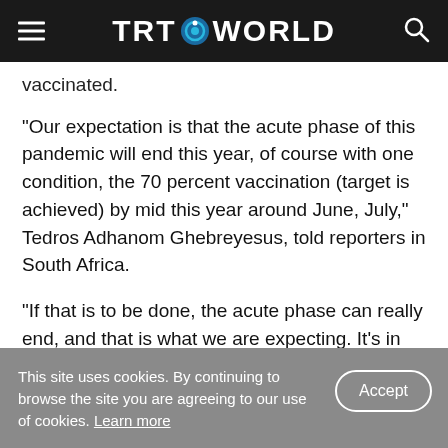TRT WORLD
vaccinated.
"Our expectation is that the acute phase of this pandemic will end this year, of course with one condition, the 70 percent vaccination (target is achieved) by mid this year around June, July," Tedros Adhanom Ghebreyesus, told reporters in South Africa.
"If that is to be done, the acute phase can really end, and that is what we are expecting. It's in our hands. It's not a matter of chance. It's a matter of
This site uses cookies. By continuing to browse the site you are agreeing to our use of cookies. Learn more